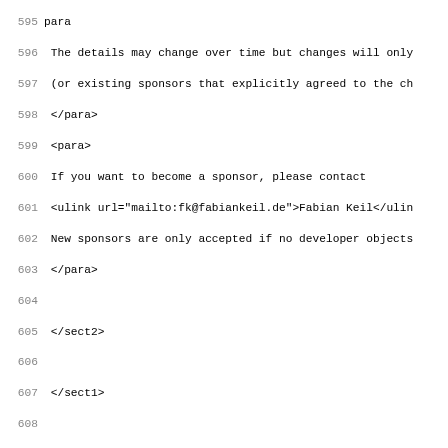Source code listing, lines 595-627, XML/DocBook markup for Privoxy documentation